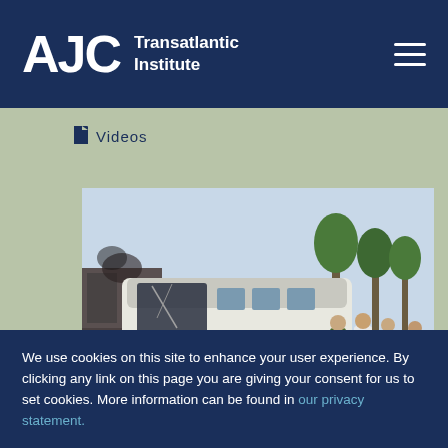AJC Transatlantic Institute
Videos
[Figure (photo): A damaged bus at an incident scene with military/emergency personnel in vests standing nearby, outdoors with trees visible in background.]
We use cookies on this site to enhance your user experience. By clicking any link on this page you are giving your consent for us to set cookies. More information can be found in our privacy statement.